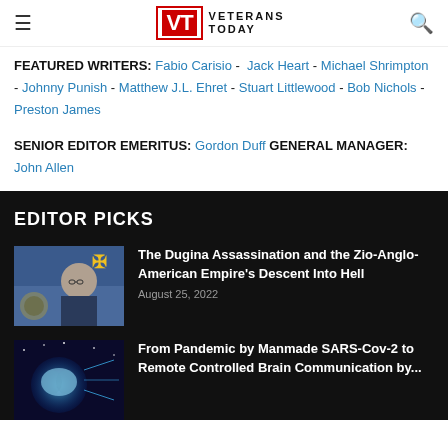Veterans Today
FEATURED WRITERS: Fabio Carisio - Jack Heart - Michael Shrimpton - Johnny Punish - Matthew J.L. Ehret - Stuart Littlewood - Bob Nichols - Preston James
SENIOR EDITOR EMERITUS: Gordon Duff GENERAL MANAGER: John Allen
EDITOR PICKS
[Figure (photo): Photo of a woman with glasses in front of a Ukrainian flag and CIA logo]
The Dugina Assassination and the Zio-Anglo-American Empire's Descent Into Hell
August 25, 2022
[Figure (photo): Illustration of a brain and digital/space imagery]
From Pandemic by Manmade SARS-Cov-2 to Remote Controlled Brain Communication by...